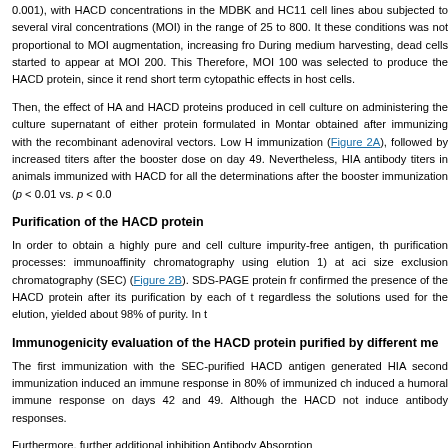0.001), with HACD concentrations in the MDBK and HC11 cell lines abou subjected to several viral concentrations (MOI) in the range of 25 to 800. It these conditions was not proportional to MOI augmentation, increasing fro During medium harvesting, dead cells started to appear at MOI 200. This Therefore, MOI 100 was selected to produce the HACD protein, since it rend short term cytopathic effects in host cells.
Then, the effect of HA and HACD proteins produced in cell culture on administering the culture supernatant of either protein formulated in Montan obtained after immunizing with the recombinant adenoviral vectors. Low H immunization (Figure 2A), followed by increased titers after the booster dose on day 49. Nevertheless, HIA antibody titers in animals immunized with HACD for all the determinations after the booster immunization (p < 0.01 vs. p < 0.0
Purification of the HACD protein
In order to obtain a highly pure and cell culture impurity-free antigen, th purification processes: immunoaffinity chromatography using elution 1) at aci size exclusion chromatography (SEC) (Figure 2B). SDS-PAGE protein fr confirmed the presence of the HACD protein after its purification by each of t regardless the solutions used for the elution, yielded about 98% of purity. In t
Immunogenicity evaluation of the HACD protein purified by different me
The first immunization with the SEC-purified HACD antigen generated HIA second immunization induced an immune response in 80% of immunized ch induced a humoral immune response on days 42 and 49. Although the HACD not induce antibody responses.
Furthermore, further additional inhibition Antibody Absorption